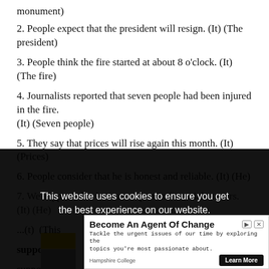monument)
2. People expect that the president will resign. (It) (The president)
3. People think the fire started at about 8 o'clock. (It) (The fire)
4. Journalists reported that seven people had been injured in the fire. (It) (Seven people)
5. They say that prices will rise again this month. (It) (Prices)
6. People consider that he is honest and reliable. (It) (He)
7. We suppose that he is an expert in financial matters. (It) (He)
... (It) (This ...
... supposed
... supposed
This website uses cookies to ensure you get the best experience on our website. Learn more
[Figure (infographic): Advertisement overlay: 'Become An Agent Of Change' - Hampshire College ad with Learn More button]